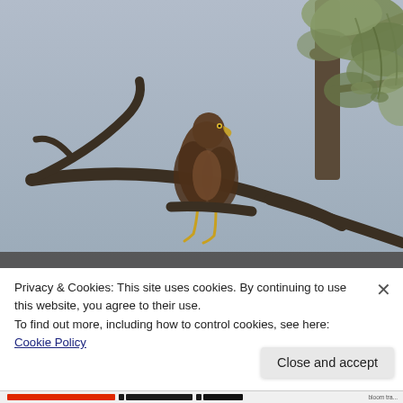[Figure (photo): A bird of prey (hawk or kite) perched on a bare tree branch, with eucalyptus foliage in the upper right and a grey overcast sky background.]
Privacy & Cookies: This site uses cookies. By continuing to use this website, you agree to their use.
To find out more, including how to control cookies, see here: Cookie Policy
Close and accept